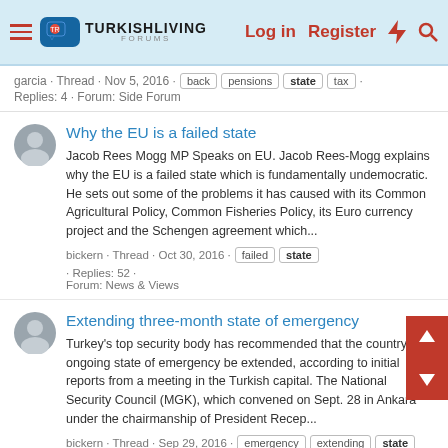TurkishLiving Forums — Log in | Register
garcia · Thread · Nov 5, 2016 · back · pensions · state · tax · Replies: 4 · Forum: Side Forum
Why the EU is a failed state
Jacob Rees Mogg MP Speaks on EU. Jacob Rees-Mogg explains why the EU is a failed state which is fundamentally undemocratic. He sets out some of the problems it has caused with its Common Agricultural Policy, Common Fisheries Policy, its Euro currency project and the Schengen agreement which...
bickern · Thread · Oct 30, 2016 · failed · state · Replies: 52 · Forum: News & Views
Extending three-month state of emergency
Turkey's top security body has recommended that the country's ongoing state of emergency be extended, according to initial reports from a meeting in the Turkish capital. The National Security Council (MGK), which convened on Sept. 28 in Ankara under the chairmanship of President Recep...
bickern · Thread · Sep 29, 2016 · emergency · extending · state · threemonth · Replies: 1 · Forum: News & Views